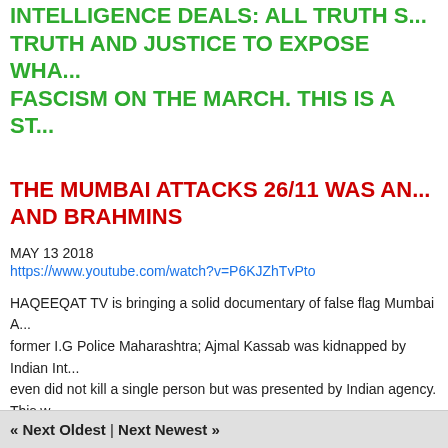INTELLIGENCE DEALS: ALL TRUTH S... TRUTH AND JUSTICE TO EXPOSE WHA... FASCISM ON THE MARCH. THIS IS A ST...
THE MUMBAI ATTACKS 26/11 WAS AN... AND BRAHMINS
MAY 13 2018
https://www.youtube.com/watch?v=P6KJZhTvPto
HAQEEQAT TV is bringing a solid documentary of false flag Mumbai A... former I.G Police Maharashtra; Ajmal Kassab was kidnapped by Indian Int... even did not kill a single person but was presented by Indian agency. This w...
« Next Oldest | Next Newest »